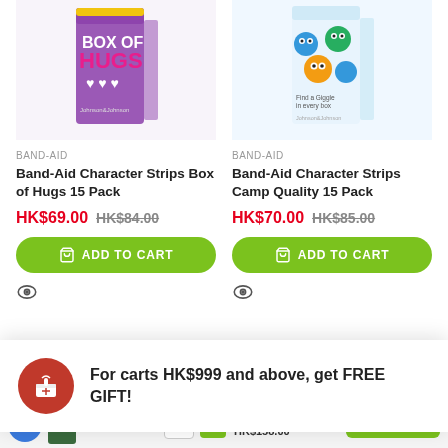[Figure (photo): Band-Aid Box of Hugs 15 Pack product box image, purple and pink packaging with hearts]
[Figure (photo): Band-Aid Character Strips Camp Quality 15 Pack product box image, colorful monster faces packaging]
BAND-AID
BAND-AID
Band-Aid Character Strips Box of Hugs 15 Pack
Band-Aid Character Strips Camp Quality 15 Pack
HK$69.00  HK$84.00
HK$70.00  HK$85.00
ADD TO CART
ADD TO CART
For carts HK$999 and above, get FREE GIFT!
Band-Aid Skin Flex Regular Adhesive Strips 40 Pack
HK$197.00
HK$158.00
ADD TO CART